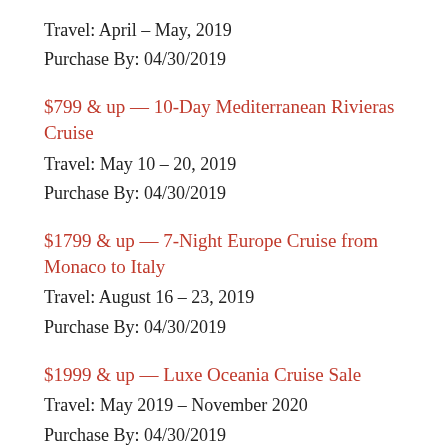Travel: April – May, 2019
Purchase By: 04/30/2019
$799 & up — 10-Day Mediterranean Rivieras Cruise
Travel: May 10 – 20, 2019
Purchase By: 04/30/2019
$1799 & up — 7-Night Europe Cruise from Monaco to Italy
Travel: August 16 – 23, 2019
Purchase By: 04/30/2019
$1999 & up — Luxe Oceania Cruise Sale
Travel: May 2019 – November 2020
Purchase By: 04/30/2019